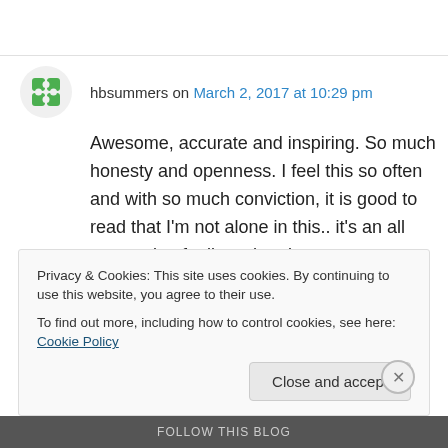hbsummers on March 2, 2017 at 10:29 pm
Awesome, accurate and inspiring. So much honesty and openness. I feel this so often and with so much conviction, it is good to read that I'm not alone in this.. it's an all consuming feeling when it gets you..

thank you..

I am sure you will be amazing!
Privacy & Cookies: This site uses cookies. By continuing to use this website, you agree to their use.
To find out more, including how to control cookies, see here: Cookie Policy
Close and accept